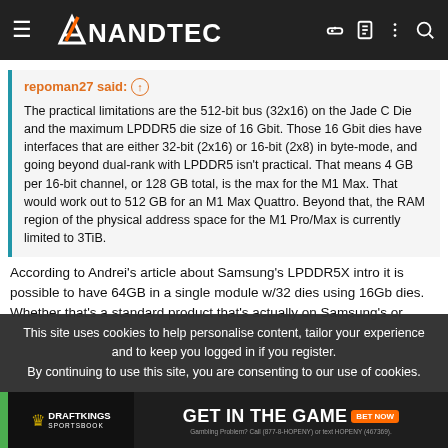AnandTech
repoman27 said: ↑

The practical limitations are the 512-bit bus (32x16) on the Jade C Die and the maximum LPDDR5 die size of 16 Gbit. Those 16 Gbit dies have interfaces that are either 32-bit (2x16) or 16-bit (2x8) in byte-mode, and going beyond dual-rank with LPDDR5 isn't practical. That means 4 GB per 16-bit channel, or 128 GB total, is the max for the M1 Max. That would work out to 512 GB for an M1 Max Quattro. Beyond that, the RAM region of the physical address space for the M1 Pro/Max is currently limited to 3TiB.
According to Andrei's article about Samsung's LPDDR5X intro it is possible to have 64GB in a single module w/32 dies using 16Gb dies. Whether that's a standard product that's actually on Samsung's or
This site uses cookies to help personalise content, tailor your experience and to keep you logged in if you register.
By continuing to use this site, you are consenting to our use of cookies.
[Figure (advertisement): DraftKings Sportsbook ad: GET IN THE GAME BET NOW. Gambling Problem? Call (877-8-HOPENY) or text HOPENY (467369).]